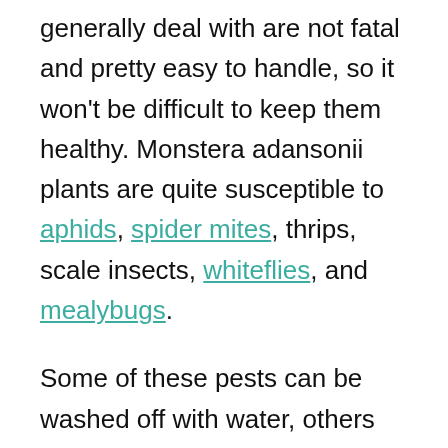generally deal with are not fatal and pretty easy to handle, so it won't be difficult to keep them healthy. Monstera adansonii plants are quite susceptible to aphids, spider mites, thrips, scale insects, whiteflies, and mealybugs.
Some of these pests can be washed off with water, others might require using neem oil, rubbing alcohol, or a non-toxic insecticide.
Too much moisture can cause fungal diseases such as powdery mildew. Blight and or rust are also pretty common diseases. In case of an infection, remove the unhealthy parts of their